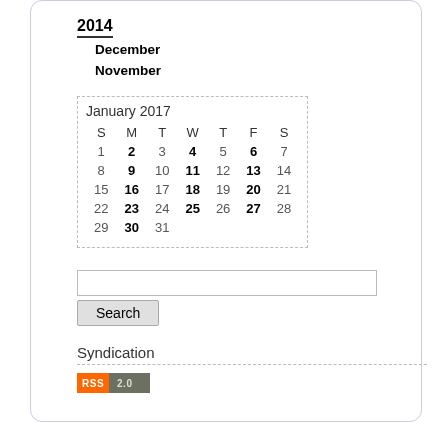2014
December
November
| S | M | T | W | T | F | S |
| --- | --- | --- | --- | --- | --- | --- |
| 1 | 2 | 3 | 4 | 5 | 6 | 7 |
| 8 | 9 | 10 | 11 | 12 | 13 | 14 |
| 15 | 16 | 17 | 18 | 19 | 20 | 21 |
| 22 | 23 | 24 | 25 | 26 | 27 | 28 |
| 29 | 30 | 31 |  |  |  |  |
Search
Syndication
[Figure (other): RSS 2.0 badge]